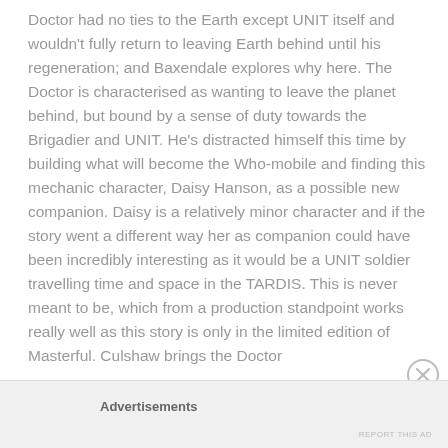Doctor had no ties to the Earth except UNIT itself and wouldn't fully return to leaving Earth behind until his regeneration; and Baxendale explores why here. The Doctor is characterised as wanting to leave the planet behind, but bound by a sense of duty towards the Brigadier and UNIT. He's distracted himself this time by building what will become the Who-mobile and finding this mechanic character, Daisy Hanson, as a possible new companion. Daisy is a relatively minor character and if the story went a different way her as companion could have been incredibly interesting as it would be a UNIT soldier travelling time and space in the TARDIS. This is never meant to be, which from a production standpoint works really well as this story is only in the limited edition of Masterful. Culshaw brings the Doctor
Advertisements